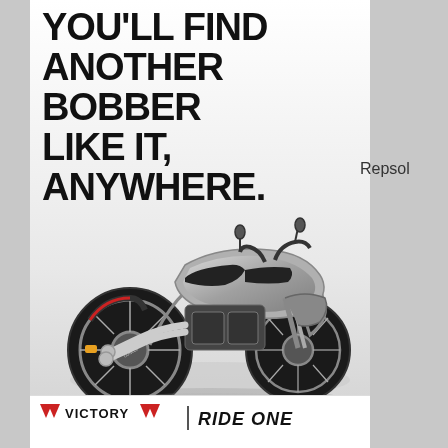[Figure (advertisement): Victory Motorcycles bobber advertisement. White/grey gradient background with large bold black headline text 'YOU'LL FIND ANOTHER BOBBER LIKE IT, ANYWHERE.' above a silver/chrome cruiser-style bobber motorcycle. Bottom bar shows Victory logo with red chevrons and 'RIDE ONE' tagline.]
Repsol